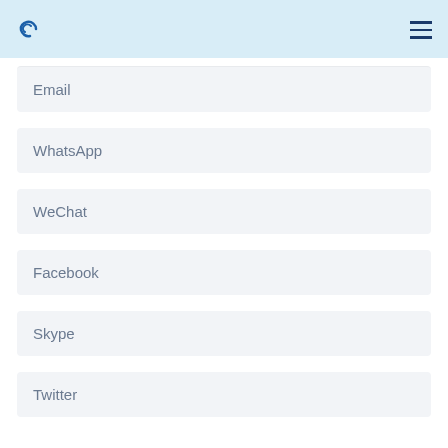Email
WhatsApp
WeChat
Facebook
Skype
Twitter